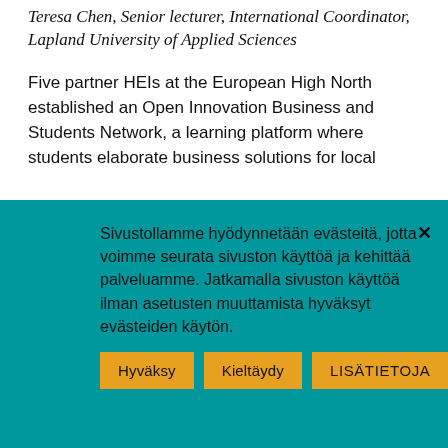Teresa Chen, Senior lecturer, International Coordinator, Lapland University of Applied Sciences
Five partner HEIs at the European High North established an Open Innovation Business and Students Network, a learning platform where students elaborate business solutions for local
Sivustollamme hyödynnetään evästeitä, jotta voimme seurata sivuston käyttöä ja kehittää palveluamme. Jatkamalla sivuston käyttöä ilman asetusten muuttamista hyväksyt evästeiden käytön.
Hyväksy
Kieltäydy
LISÄTIETOJA